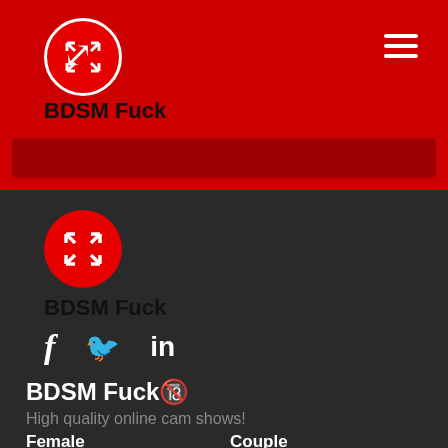[Figure (logo): Red circle with white expand/fullscreen arrows icon - top header logo]
BDSM Fuck
[Figure (screenshot): Red search bar area]
[Figure (logo): Red circle with white expand arrows icon - footer logo]
BDSM Fuck
[Figure (infographic): Social media icons: Facebook (f), Twitter (bird), LinkedIn (in)]
BDSM Fuck🔞
High quality online cam shows!
Female
Couple